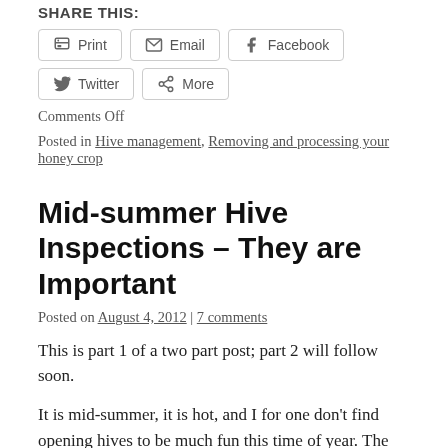SHARE THIS:
Print
Email
Facebook
Twitter
More
Comments Off
Posted in Hive management, Removing and processing your honey crop
Mid-summer Hive Inspections – They are Important
Posted on August 4, 2012 | 7 comments
This is part 1 of a two part post; part 2 will follow soon.
It is mid-summer, it is hot, and I for one don't find opening hives to be much fun this time of year. The bees are sometimes grumpier, but